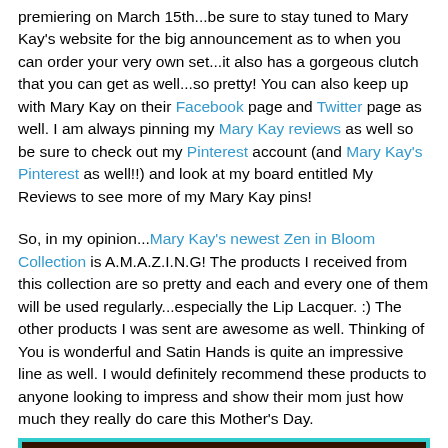premiering on March 15th...be sure to stay tuned to Mary Kay's website for the big announcement as to when you can order your very own set...it also has a gorgeous clutch that you can get as well...so pretty! You can also keep up with Mary Kay on their Facebook page and Twitter page as well. I am always pinning my Mary Kay reviews as well so be sure to check out my Pinterest account (and Mary Kay's Pinterest as well!!) and look at my board entitled My Reviews to see more of my Mary Kay pins!
So, in my opinion...Mary Kay's newest Zen in Bloom Collection is A.M.A.Z.I.N.G! The products I received from this collection are so pretty and each and every one of them will be used regularly...especially the Lip Lacquer. :) The other products I was sent are awesome as well. Thinking of You is wonderful and Satin Hands is quite an impressive line as well. I would definitely recommend these products to anyone looking to impress and show their mom just how much they really do care this Mother's Day.
[Figure (photo): Photo of Mary Kay Zen in Bloom Collection products on a dark background with teal border]